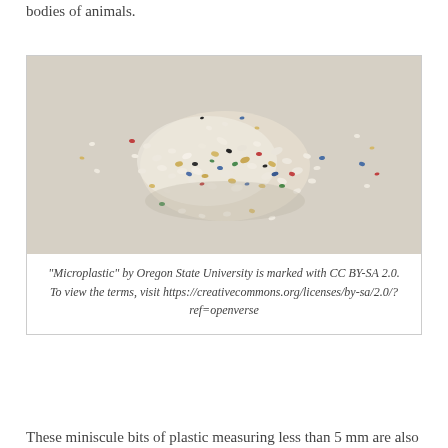bodies of animals.
[Figure (photo): Close-up photograph of microplastic particles — small, irregularly shaped pieces of plastic in various colors (white, yellow, gold, blue, red, green, black) scattered on a light surface, resembling tiny beads and fragments.]
“Microplastic” by Oregon State University is marked with CC BY-SA 2.0. To view the terms, visit https://creativecommons.org/licenses/by-sa/2.0/?ref=openverse
These miniscule bits of plastic measuring less than 5 mm are also